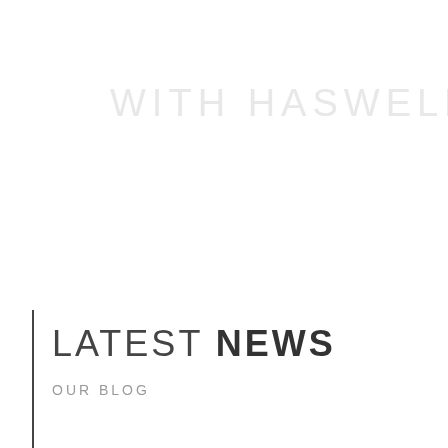[Figure (other): Faint watermark text reading 'WITH HASWELL.' in light gray letters across the upper portion of the page]
LATEST NEWS
OUR BLOG